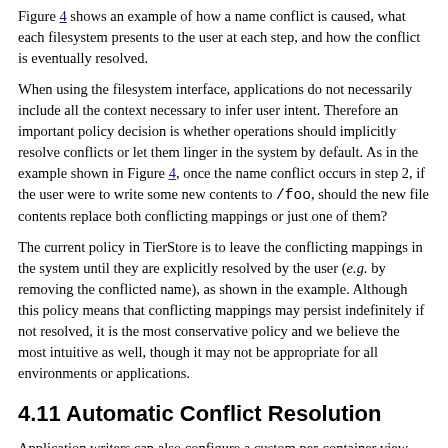Figure 4 shows an example of how a name conflict is caused, what each filesystem presents to the user at each step, and how the conflict is eventually resolved.
When using the filesystem interface, applications do not necessarily include all the context necessary to infer user intent. Therefore an important policy decision is whether operations should implicitly resolve conflicts or let them linger in the system by default. As in the example shown in Figure 4, once the name conflict occurs in step 2, if the user were to write some new contents to /foo, should the new file contents replace both conflicting mappings or just one of them?
The current policy in TierStore is to leave the conflicting mappings in the system until they are explicitly resolved by the user (e.g. by removing the conflicted name), as shown in the example. Although this policy means that conflicting mappings may persist indefinitely if not resolved, it is the most conservative policy and we believe the most intuitive as well, though it may not be appropriate for all environments or applications.
4.11 Automatic Conflict Resolution
Application writers can also configure a custom per-container view resolution routine that is triggered when the system detects a